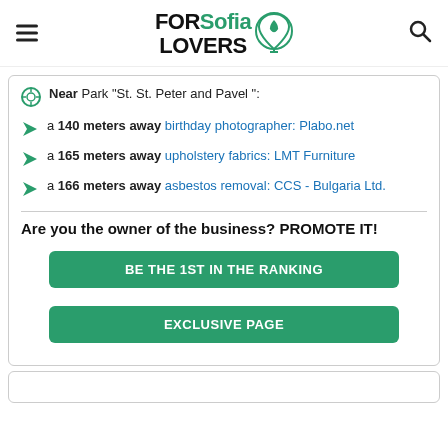FOR Sofia LOVERS
Near Park "St. St. Peter and Pavel ":
a 140 meters away birthday photographer: Plabo.net
a 165 meters away upholstery fabrics: LMT Furniture
a 166 meters away asbestos removal: CCS - Bulgaria Ltd.
Are you the owner of the business? PROMOTE IT!
BE THE 1ST IN THE RANKING
EXCLUSIVE PAGE